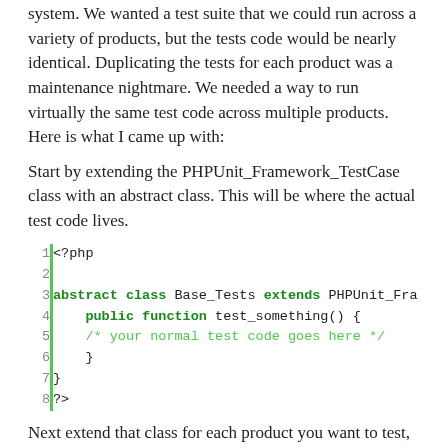system. We wanted a test suite that we could run across a variety of products, but the tests code would be nearly identical. Duplicating the tests for each product was a maintenance nightmare. We needed a way to run virtually the same test code across multiple products. Here is what I came up with:
Start by extending the PHPUnit_Framework_TestCase class with an abstract class. This will be where the actual test code lives.
[Figure (screenshot): Code block showing PHP abstract class Base_Tests extending PHPUnit_Fra with a public function test_something() method containing a comment.]
Next extend that class for each product you want to test, and define the product as a member variable in the setUp() method so it can be accessed from the test method scope:
[Figure (screenshot): Code block beginning with <?php and class Product_A_Tests extends Base_Tests {]